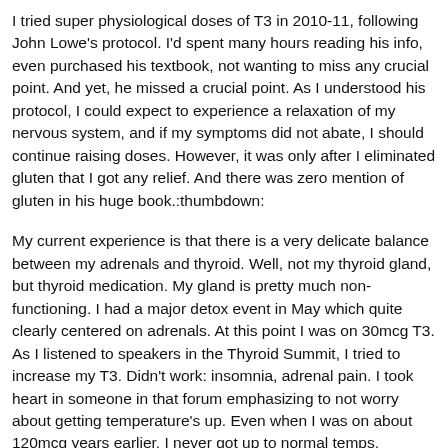I tried super physiological doses of T3 in 2010-11, following John Lowe's protocol. I'd spent many hours reading his info, even purchased his textbook, not wanting to miss any crucial point. And yet, he missed a crucial point. As I understood his protocol, I could expect to experience a relaxation of my nervous system, and if my symptoms did not abate, I should continue raising doses. However, it was only after I eliminated gluten that I got any relief. And there was zero mention of gluten in his huge book.:thumbdown:
My current experience is that there is a very delicate balance between my adrenals and thyroid. Well, not my thyroid gland, but thyroid medication. My gland is pretty much non-functioning. I had a major detox event in May which quite clearly centered on adrenals. At this point I was on 30mcg T3. As I listened to speakers in the Thyroid Summit, I tried to increase my T3. Didn't work: insomnia, adrenal pain. I took heart in someone in that forum emphasizing to not worry about getting temperature's up. Even when I was on about 120mcg years earlier, I never got up to normal temps.